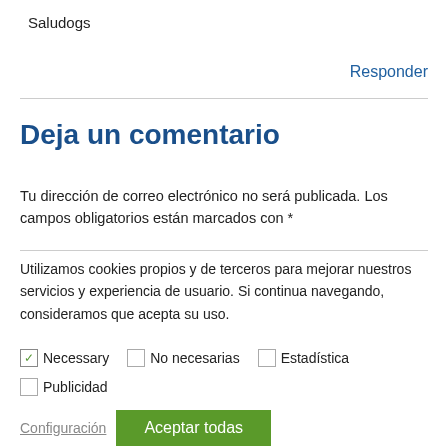Saludogs
Responder
Deja un comentario
Tu dirección de correo electrónico no será publicada. Los campos obligatorios están marcados con *
Utilizamos cookies propios y de terceros para mejorar nuestros servicios y experiencia de usuario. Si continua navegando, consideramos que acepta su uso.
Necessary
No necesarias
Estadística
Publicidad
Configuración
Aceptar todas